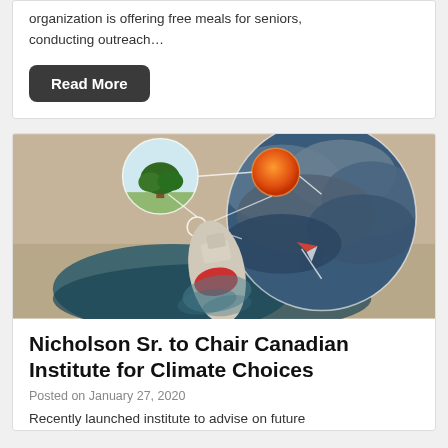organization is offering free meals for seniors, conducting outreach…
Read More
[Figure (illustration): Aerial view of a red and white research vessel on water, with an artistic overlay showing connected circles containing a tree, an orange sun, and a large cloud/storm circle, connected by white lines suggesting climate or environmental monitoring.]
Nicholson Sr. to Chair Canadian Institute for Climate Choices
Posted on January 27, 2020
Recently launched institute to advise on future